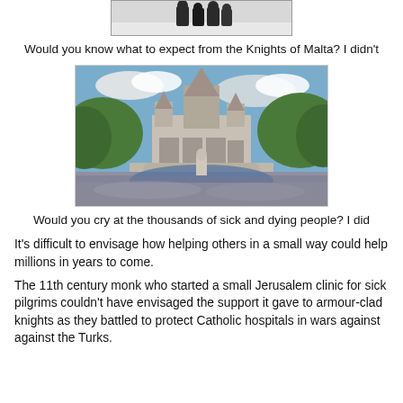[Figure (photo): Black and white photo of figures in dark robes/habits standing in snow]
Would you know what to expect from the Knights of Malta? I didn't
[Figure (photo): Large outdoor Catholic shrine (Lourdes basilica) with massive crowd of pilgrims gathered in front]
Would you cry at the thousands of sick and dying people? I did
It's difficult to envisage how helping others in a small way could help millions in years to come.
The 11th century monk who started a small Jerusalem clinic for sick pilgrims couldn't have envisaged the support it gave to armour-clad knights as they battled to protect Catholic hospitals in wars against against the Turks.